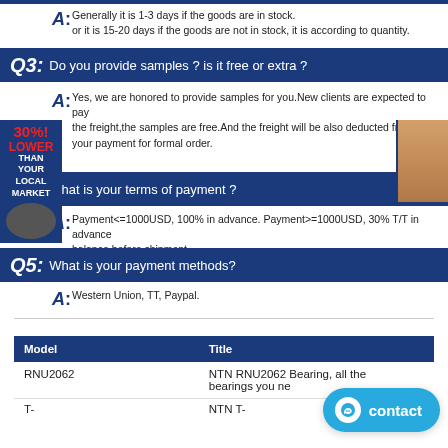A: Generally it is 1-3 days if the goods are in stock. or it is 15-20 days if the goods are not in stock, it is according to quantity.
Q3: Do you provide samples ? is it free or extra ?
A: Yes, we are honored to provide samples for you.New clients are expected to pay the freight,the samples are free.And the freight will be also deducted from your payment for formal order.
Q4: What is your terms of payment ?
A: Payment<=1000USD, 100% in advance. Payment>=1000USD, 30% T/T in advance balance before shipment.
Q5: What is your payment methods?
A: Western Union, TT, Paypal.
Q6: What should I do if I don't see the type of bearings I need?
A: We have too many bearing series numbers. Sometimes we can't put them all on Alibaba. Just send us the inquiry and we will be very happy to send you the bearing details and best price.
| Model | Title |
| --- | --- |
| RNU2062 | NTN RNU2062 Bearing, all the bearings you ne... |
| T- | NTN T- |